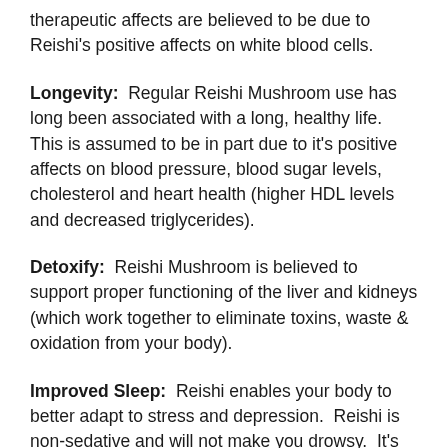therapeutic affects are believed to be due to Reishi's positive affects on white blood cells.
Longevity: Regular Reishi Mushroom use has long been associated with a long, healthy life. This is assumed to be in part due to it's positive affects on blood pressure, blood sugar levels, cholesterol and heart health (higher HDL levels and decreased triglycerides).
Detoxify: Reishi Mushroom is believed to support proper functioning of the liver and kidneys (which work together to eliminate toxins, waste & oxidation from your body).
Improved Sleep: Reishi enables your body to better adapt to stress and depression. Reishi is non-sedative and will not make you drowsy. It's positive affect on sleep quality is believed to be due to its ability to balance and improve natural sleep cycles.
How To Take: